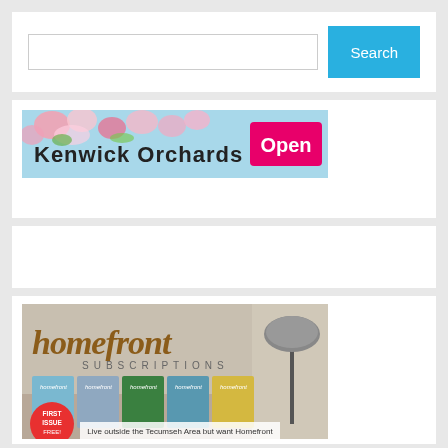[Figure (screenshot): Search bar with text input field and blue Search button]
[Figure (illustration): Kenwick Orchards Open banner advertisement with floral background]
[Figure (photo): Homefront Subscriptions magazine advertisement showing multiple magazine covers with 'First Issue Free' badge and text 'Live outside the Tecumseh Area but want Homefront']